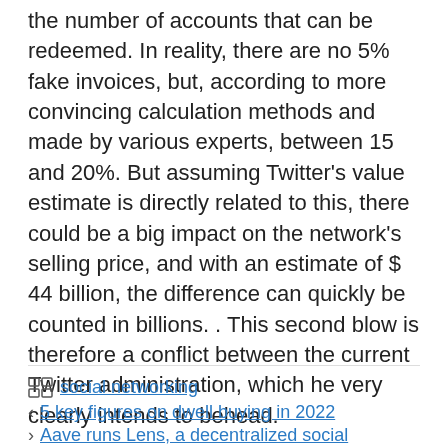the number of accounts that can be redeemed. In reality, there are no 5% fake invoices, but, according to more convincing calculation methods and made by various experts, between 15 and 20%. But assuming Twitter's value estimate is directly related to this, there could be a big impact on the network's selling price, and with an estimate of $ 44 billion, the difference can quickly be counted in billions. . This second blow is therefore a conflict between the current Twitter administration, which he very clearly intends to behead.
social networking
5 key figures on dwell buying in 2022
Aave runs Lens, a decentralized social